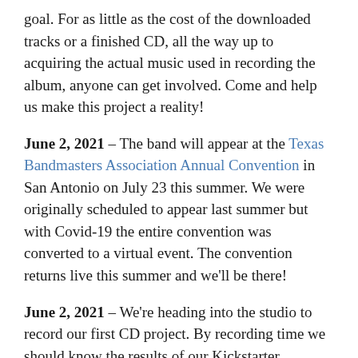goal. For as little as the cost of the downloaded tracks or a finished CD, all the way up to acquiring the actual music used in recording the album, anyone can get involved. Come and help us make this project a reality!
June 2, 2021 – The band will appear at the Texas Bandmasters Association Annual Convention in San Antonio on July 23 this summer. We were originally scheduled to appear last summer but with Covid-19 the entire convention was converted to a virtual event. The convention returns live this summer and we'll be there!
June 2, 2021 – We're heading into the studio to record our first CD project. By recording time we should know the results of our Kickstarter campaign. We'll post pictures and videos both of the prep rehearsals and the actual recording process, and performance videos will be a part of the rewards offered to the Kickstarter